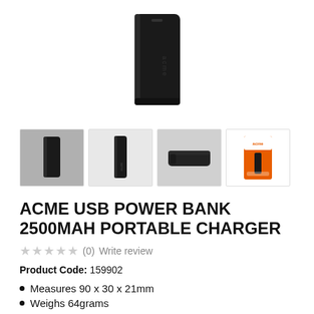[Figure (photo): Main product photo of black ACME USB power bank standing upright, showing the 'acme' logo on the side]
[Figure (photo): Four product thumbnail images: 1) power bank upright on gray background 2) power bank upright on white background 3) power bank lying flat on white background 4) product retail packaging box with orange and white design]
ACME USB POWER BANK 2500MAH PORTABLE CHARGER
★★★★★ (0)  Write review
Product Code: 159902
Measures 90 x 30 x 21mm
Weighs 64grams
High Battery Capacity